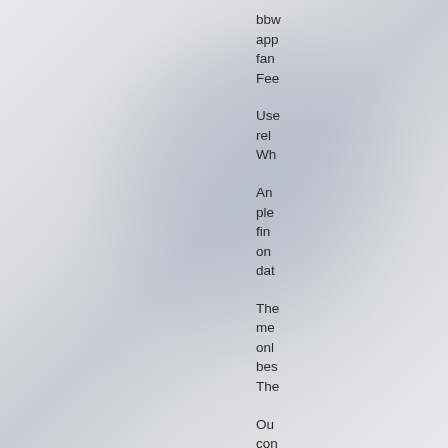bbw app fan Fee
Use rel Wh
An ple fin on dat
Th me on be Th
Ou con